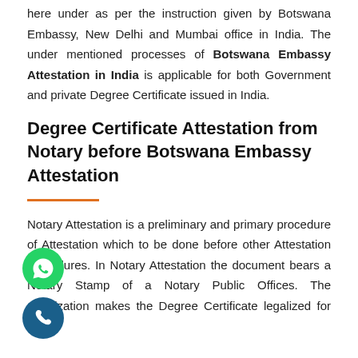here under as per the instruction given by Botswana Embassy, New Delhi and Mumbai office in India. The under mentioned processes of Botswana Embassy Attestation in India is applicable for both Government and private Degree Certificate issued in India.
Degree Certificate Attestation from Notary before Botswana Embassy Attestation
Notary Attestation is a preliminary and primary procedure of Attestation which to be done before other Attestation procedures. In Notary Attestation the document bears a Notary Stamp of a Notary Public Offices. The notarization makes the Degree Certificate legalized for further